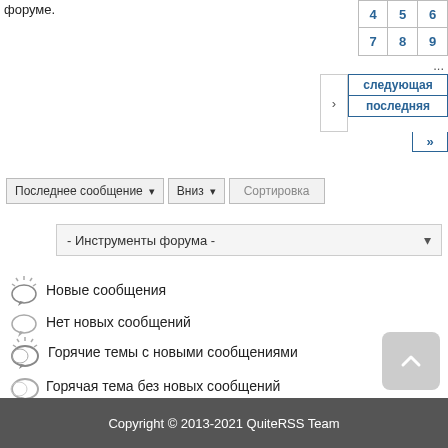форуме.
Новые сообщения
Нет новых сообщений
Горячие темы с новыми сообщениями
Горячая тема без новых сообщений
Прикрепленная тема
Закрытая тема
Copyright © 2013-2021 QuiteRSS Team